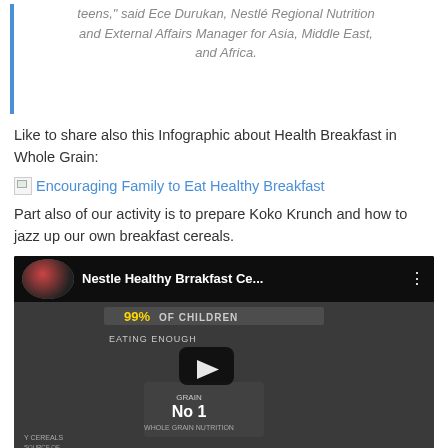teens," said Ece Durukan, Nestlé Regional Nutrition and External Affairs Manager for Asia, Middle East, and Africa.
Like to share also this Infographic about Health Breakfast in Whole Grain:
[Figure (other): Broken image link with text: Encouraging Family to Eat Healthy Breakfast (hyperlink)]
Part also of our activity is to prepare Koko Krunch and how to jazz up our own breakfast cereals.
[Figure (screenshot): YouTube video thumbnail showing 'Nestle Healthy Brrakfast Ce...' with a woman's profile picture, background showing '99% OF CHILDREN EATING ENOUGH' and 'GRAIN No 1' text, dark grayscale screenshot with play button overlay.]